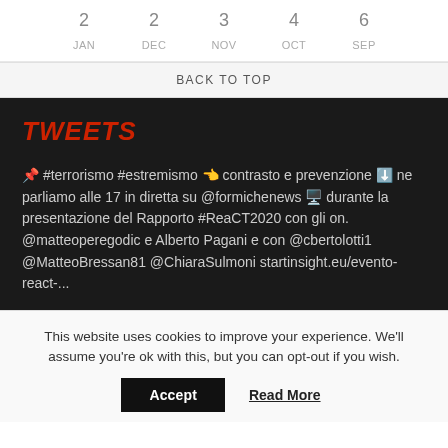| 2 | 2 | 3 | 4 | 6 |
| JAN | DEC | NOV | OCT | SEP |
BACK TO TOP
TWEETS
📌 #terrorismo #estremismo 👈 contrasto e prevenzione ⬇️ ne parliamo alle 17 in diretta su @formichenews 🖥️ durante la presentazione del Rapporto #ReaCT2020 con gli on. @matteoperegodic e Alberto Pagani e con @cbertolotti1 @MatteoBressan81 @ChiaraSulmoni startinsight.eu/evento-react-...
This website uses cookies to improve your experience. We'll assume you're ok with this, but you can opt-out if you wish.
Accept
Read More